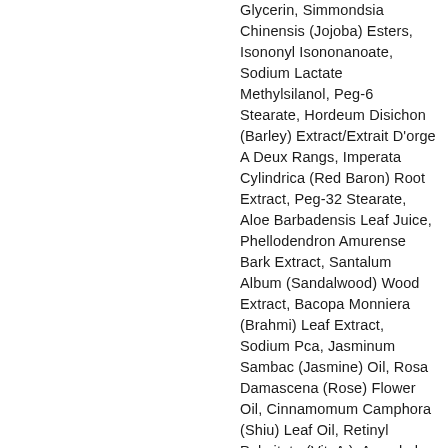Glycerin, Simmondsia Chinensis (Jojoba) Esters, Isononyl Isononanoate, Sodium Lactate Methylsilanol, Peg-6 Stearate, Hordeum Disichon (Barley) Extract/Extrait D'orge A Deux Rangs, Imperata Cylindrica (Red Baron) Root Extract, Peg-32 Stearate, Aloe Barbadensis Leaf Juice, Phellodendron Amurense Bark Extract, Santalum Album (Sandalwood) Wood Extract, Bacopa Monniera (Brahmi) Leaf Extract, Sodium Pca, Jasminum Sambac (Jasmine) Oil, Rosa Damascena (Rose) Flower Oil, Cinnamomum Camphora (Shiu) Leaf Oil, Retinyl Palmitate (Vit. A ), Ascorbyl Tetraisopalmitate (Vit. C)